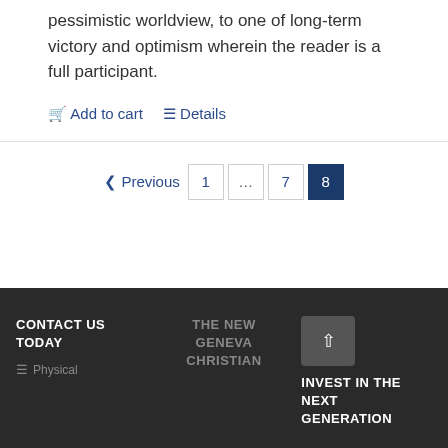pessimistic worldview, to one of long-term victory and optimism wherein the reader is a full participant.
Add to cart
Details
< Previous  1  ...  7  8
CONTACT US TODAY | THE NEW GENEVA CHRISTIAN | INVEST IN THE NEXT GENERATION